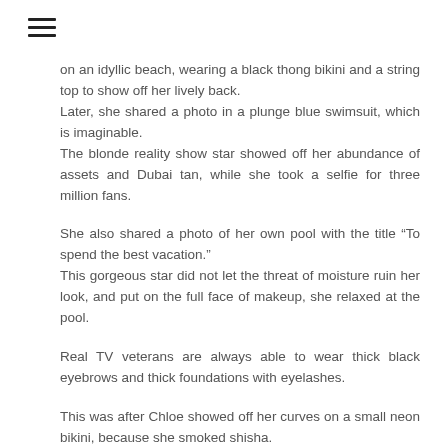on an idyllic beach, wearing a black thong bikini and a string top to show off her lively back.
Later, she shared a photo in a plunge blue swimsuit, which is imaginable.
The blonde reality show star showed off her abundance of assets and Dubai tan, while she took a selfie for three million fans.
She also shared a photo of her own pool with the title "To spend the best vacation."
This gorgeous star did not let the threat of moisture ruin her look, and put on the full face of makeup, she relaxed at the pool.
Real TV veterans are always able to wear thick black eyebrows and thick foundations with eyelashes.
This was after Chloe showed off her curves on a small neon bikini, because she smoked shisha.